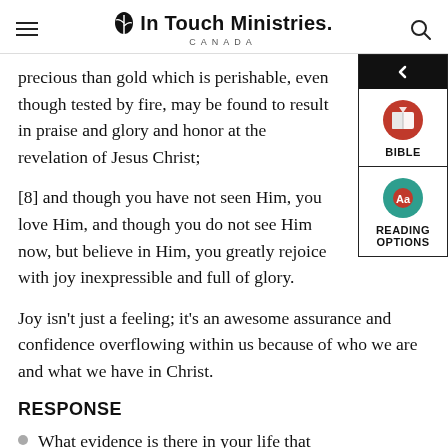In Touch Ministries CANADA
precious than gold which is perishable, even though tested by fire, may be found to result in praise and glory and honor at the revelation of Jesus Christ;
[8] and though you have not seen Him, you love Him, and though you do not see Him now, but believe in Him, you greatly rejoice with joy inexpressible and full of glory.
Joy isn't just a feeling; it's an awesome assurance and confidence overflowing within us because of who we are and what we have in Christ.
RESPONSE
What evidence is there in your life that